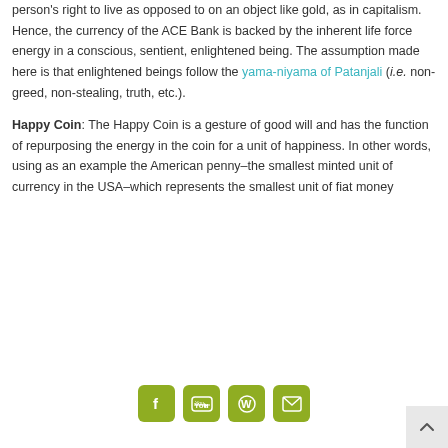person's right to live as opposed to on an object like gold, as in capitalism. Hence, the currency of the ACE Bank is backed by the inherent life force energy in a conscious, sentient, enlightened being. The assumption made here is that enlightened beings follow the yama-niyama of Patanjali (i.e. non-greed, non-stealing, truth, etc.).
Happy Coin: The Happy Coin is a gesture of good will and has the function of repurposing the energy in the coin for a unit of happiness. In other words, using as an example the American penny–the smallest minted unit of currency in the USA–which represents the smallest unit of fiat money
[Figure (other): Social media icons: Facebook, YouTube, WordPress, Email — olive/yellow-green rounded square buttons]